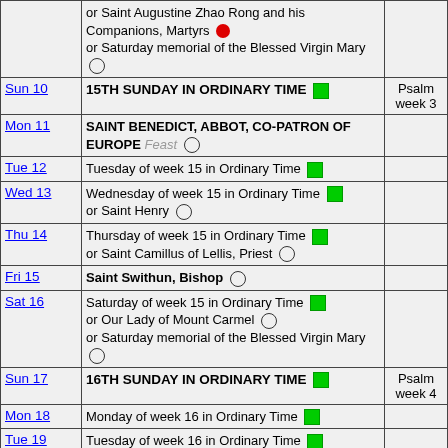| Day | Description | Psalm |
| --- | --- | --- |
|  | or Saint Augustine Zhao Rong and his Companions, Martyrs ● or Saturday memorial of the Blessed Virgin Mary ○ |  |
| Sun 10 | 15TH SUNDAY IN ORDINARY TIME ■ | Psalm week 3 |
| Mon 11 | SAINT BENEDICT, ABBOT, CO-PATRON OF EUROPE Feast ○ |  |
| Tue 12 | Tuesday of week 15 in Ordinary Time ■ |  |
| Wed 13 | Wednesday of week 15 in Ordinary Time ■ or Saint Henry ○ |  |
| Thu 14 | Thursday of week 15 in Ordinary Time ■ or Saint Camillus of Lellis, Priest ○ |  |
| Fri 15 | Saint Swithun, Bishop ○ |  |
| Sat 16 | Saturday of week 15 in Ordinary Time ■ or Our Lady of Mount Carmel ○ or Saturday memorial of the Blessed Virgin Mary ○ |  |
| Sun 17 | 16TH SUNDAY IN ORDINARY TIME ■ | Psalm week 4 |
| Mon 18 | Monday of week 16 in Ordinary Time ■ |  |
| Tue 19 | Tuesday of week 16 in Ordinary Time ■ |  |